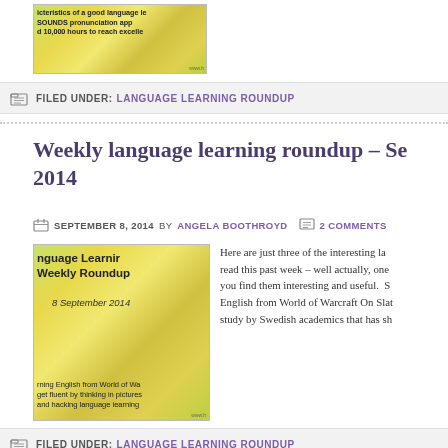[Figure (photo): Thumbnail image for a language learning roundup blog post with colourful bubbles background and text overlay mentioning pronunciation app, SOUNDS, and 10,000 hours to reach excellence]
FILED UNDER: LANGUAGE LEARNING ROUNDUP
Weekly language learning roundup – September 2014
SEPTEMBER 8, 2014 BY ANGELA BOOTHROYD   2 COMMENTS
[Figure (photo): Thumbnail image showing Language Learning Weekly Roundup, 8 September 2014, with bubbles background and text about learning English from World of Warcraft, getting fluent by thinking in pictures, and hacking language learning]
Here are just three of the interesting language learning articles I read this past week – well actually, one of them is a study. I hope you find them interesting and useful.  Smilies  English from World of Warcraft On Slate, there's a report on a study by Swedish academics that has sh
FILED UNDER: LANGUAGE LEARNING ROUNDUP